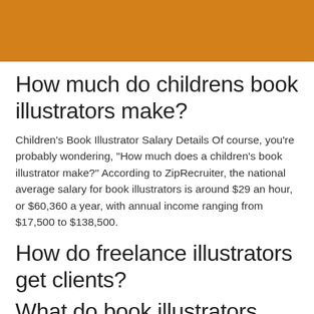[Figure (other): Orange decorative header bar]
How much do childrens book illustrators make?
Children's Book Illustrator Salary Details Of course, you're probably wondering, "How much does a children's book illustrator make?" According to ZipRecruiter, the national average salary for book illustrators is around $29 an hour, or $60,360 a year, with annual income ranging from $17,500 to $138,500.
How do freelance illustrators get clients?
What do book illustrators do?